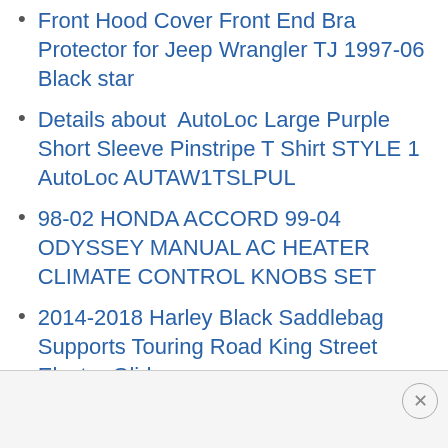Front Hood Cover Front End Bra Protector for Jeep Wrangler TJ 1997-06 Black star
Details about  AutoLoc Large Purple Short Sleeve Pinstripe T Shirt STYLE 1 AutoLoc AUTAW1TSLPUL
98-02 HONDA ACCORD 99-04 ODYSSEY MANUAL AC HEATER CLIMATE CONTROL KNOBS SET
2014-2018 Harley Black Saddlebag Supports Touring Road King Street Electra Glide